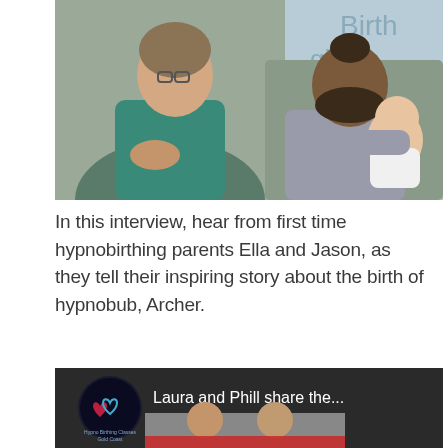[Figure (photo): A woman with glasses wearing a teal sleeveless top sits smiling, talking with a bearded man in a grey shirt who is holding a baby in a white outfit. A presentation screen in the background shows partial text 'Birth', 'ging', 'eth'.]
In this interview, hear from first time hypnobirthing parents Ella and Jason, as they tell their inspiring story about the birth of hypnobub, Archer.
[Figure (screenshot): YouTube video thumbnail showing 'Laura and Phill share the...' with a circular logo for Hypnobirthing Classes Gold Coast and a man and woman visible in the thumbnail.]